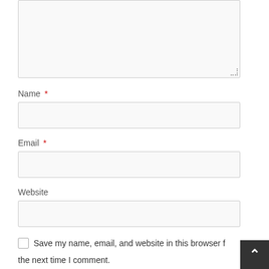[Figure (screenshot): Textarea input box at the top of the form, empty, with resize handle]
Name *
[Figure (screenshot): Name text input field, empty]
Email *
[Figure (screenshot): Email text input field, empty]
Website
[Figure (screenshot): Website text input field, empty]
Save my name, email, and website in this browser f the next time I comment.